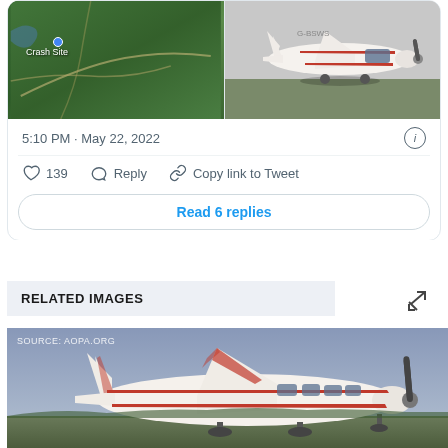[Figure (screenshot): Tweet card showing two images side by side: a satellite map with a 'Crash Site' label and blue dot, and a photo of a small red-and-white propeller plane on a runway.]
5:10 PM · May 22, 2022
139  Reply  Copy link to Tweet
Read 6 replies
RELATED IMAGES
[Figure (photo): Close-up photo of a white and red single-engine propeller aircraft (similar to a Piper Cherokee) on a runway, with blue sky in background. Source: AOPA.ORG label in upper left corner.]